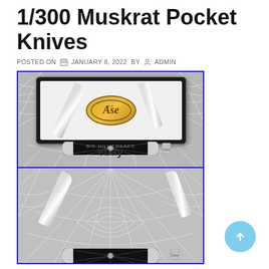1/300 Muskrat Pocket Knives
POSTED ON  JANUARY 8, 2022  BY  ADMIN
[Figure (photo): Two photos of a Case XX limited edition 1/300 Muskrat Pocket Knife with black spider web handle pattern, shown open in a display box (top) and open without box (bottom). Both images have an eBay watermark on the top image and 'BIG HILL FREAKS' watermark. Blue border around both images.]